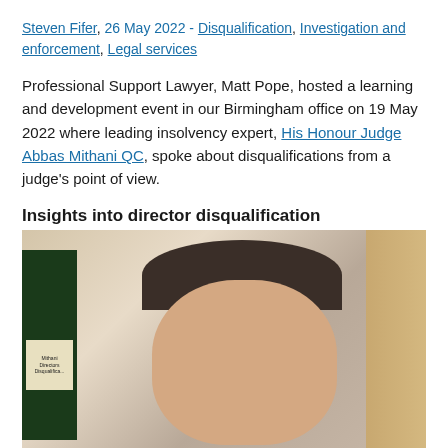Steven Fifer, 26 May 2022 - Disqualification, Investigation and enforcement, Legal services
Professional Support Lawyer, Matt Pope, hosted a learning and development event in our Birmingham office on 19 May 2022 where leading insolvency expert, His Honour Judge Abbas Mithani QC, spoke about disqualifications from a judge's point of view.
Insights into director disqualification
[Figure (photo): Close-up photo of a man (His Honour Judge Abbas Mithani QC) with dark hair, in front of bookshelves containing law books including one labelled 'Mithani Directors Disqualification' and a wooden background to the right.]